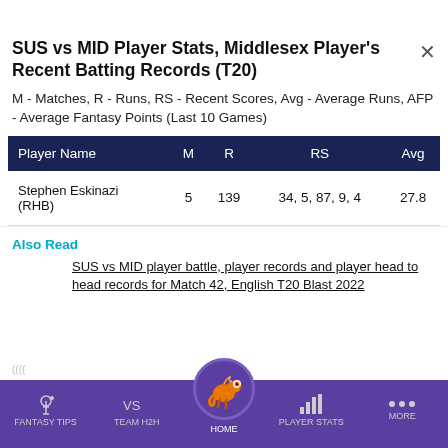SUS vs MID Player Stats, Middlesex Player's Recent Batting Records (T20)
M - Matches, R - Runs, RS - Recent Scores, Avg - Average Runs, AFP - Average Fantasy Points (Last 10 Games)
| Player Name | M | R | RS | Avg |
| --- | --- | --- | --- | --- |
| Stephen Eskinazi (RHB) | 5 | 139 | 34, 5, 87, 9, 4 | 27.8 |
Also Read
SUS vs MID player battle, player records and player head to head records for Match 42, English T20 Blast 2022
FANTASY TIPS   TEAM H2H   HOME   PLAYER STATS   MORE